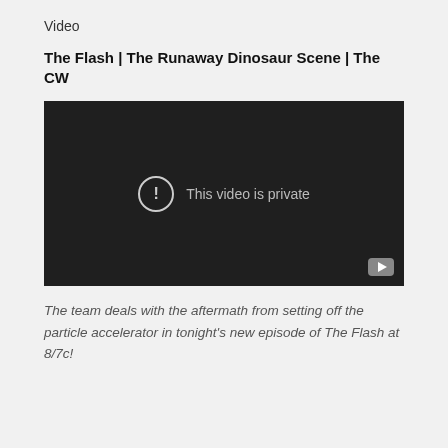Video
The Flash | The Runaway Dinosaur Scene | The CW
[Figure (screenshot): Embedded video player showing a dark screen with the message 'This video is private' and a YouTube logo button in the bottom right corner.]
The team deals with the aftermath from setting off the particle accelerator in tonight's new episode of The Flash at 8/7c!